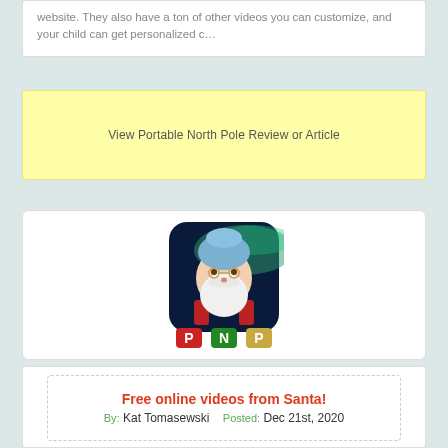website. They also have a ton of other videos you can customize, and your child can get personalized c…
View Portable North Pole Review or Article
[Figure (photo): App icon for Portable North Pole (PNP) showing Santa Claus with white beard wearing a blue hat, with colorful letter blocks spelling PNP below, against a night sky with aurora borealis background. App icon has rounded corners.]
Free online videos from Santa!
By: Kat Tomasewski   Posted: Dec 21st, 2020